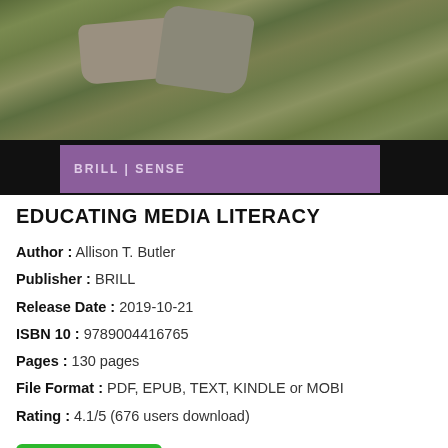[Figure (photo): Book cover image showing rocks with moss and a purple publisher banner reading BRILL / SENSE]
EDUCATING MEDIA LITERACY
Author : Allison T. Butler
Publisher : BRILL
Release Date : 2019-10-21
ISBN 10 : 9789004416765
Pages : 130 pages
File Format : PDF, EPUB, TEXT, KINDLE or MOBI
Rating : 4.1/5 (676 users download)